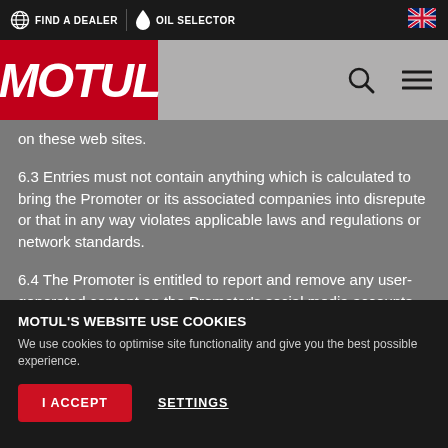FIND A DEALER | OIL SELECTOR
[Figure (logo): Motul logo on red background with navigation icons (search and hamburger menu)]
on these web sites.
6.3 Entries must not contain anything which is calculated to bring the Promoter or its associated companies into disrepute or that in any way violates applicable laws and regulations or network standards.
6.4 The Promoter is entitled to report and remove any user-generated content on the Promoter's social media accounts immediately and without notice if a user is in breach of these terms and conditions, are instructed to do so by any third party or if the
MOTUL'S WEBSITE USE COOKIES
We use cookies to optimise site functionality and give you the best possible experience.
I ACCEPT
SETTINGS